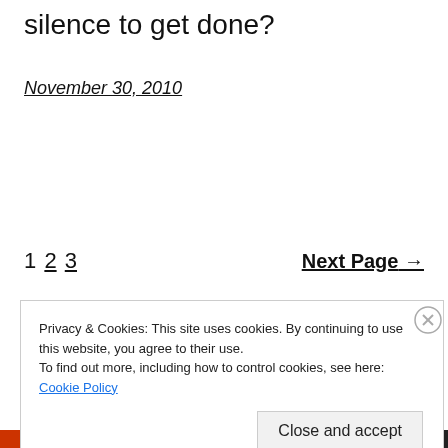silence to get done?
November 30, 2010
1 2 3   Next Page →
Privacy & Cookies: This site uses cookies. By continuing to use this website, you agree to their use.
To find out more, including how to control cookies, see here: Cookie Policy
Close and accept